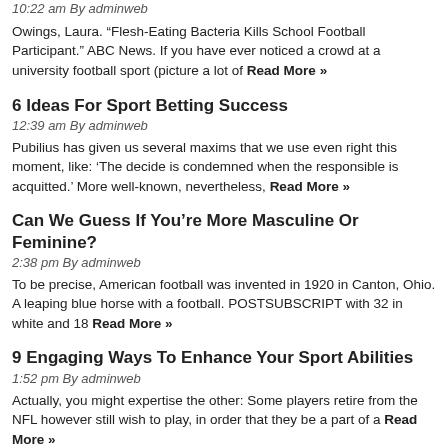10:22 am By adminweb
Owings, Laura. “Flesh-Eating Bacteria Kills School Football Participant.” ABC News. If you have ever noticed a crowd at a university football sport (picture a lot of Read More »
6 Ideas For Sport Betting Success
12:39 am By adminweb
Pubilius has given us several maxims that we use even right this moment, like: ‘The decide is condemned when the responsible is acquitted.’ More well-known, nevertheless, Read More »
Can We Guess If You’re More Masculine Or Feminine?
2:38 pm By adminweb
To be precise, American football was invented in 1920 in Canton, Ohio. A leaping blue horse with a football. POSTSUBSCRIPT with 32 in white and 18 Read More »
9 Engaging Ways To Enhance Your Sport Abilities
1:52 pm By adminweb
Actually, you might expertise the other: Some players retire from the NFL however still wish to play, in order that they be a part of a Read More »